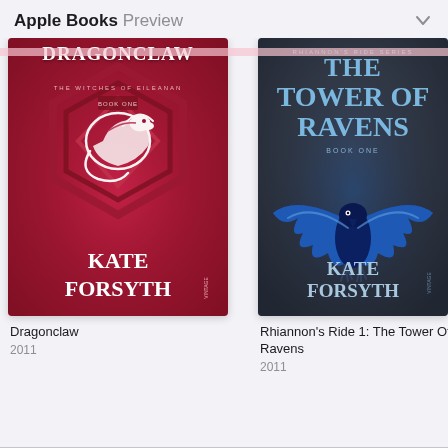Apple Books Preview
[Figure (photo): Book cover: Dragonclaw by Kate Forsyth – crimson/pink background with hexagonal emblem and white dragon, The Witches of Eileanan Book One, Vintage publisher]
Dragonclaw
2011
[Figure (photo): Book cover: The Tower of Ravens by Kate Forsyth – dark grey stone background with blue raven, Rhiannon's Ride Series Book One, Vintage publisher]
Rhiannon's Ride 1: The Tower Of Ravens
2011
[Figure (photo): Partial book cover at right edge – blue themed, Kate Forsyth, partially cropped]